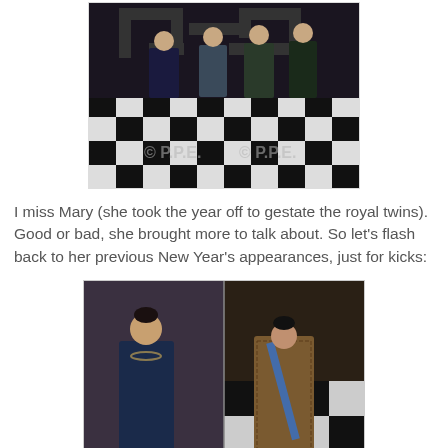[Figure (photo): Photo of royal figures in formal and military attire standing on a black and white checkered floor, with watermark © P.P.E.]
I miss Mary (she took the year off to gestate the royal twins). Good or bad, she brought more to talk about. So let's flash back to her previous New Year's appearances, just for kicks:
[Figure (photo): Two side-by-side photos of Princess Mary in formal gowns at New Year's appearances — left in a dark blue structured gown with a chain necklace, right in a patterned gold/brown gown with a blue sash.]